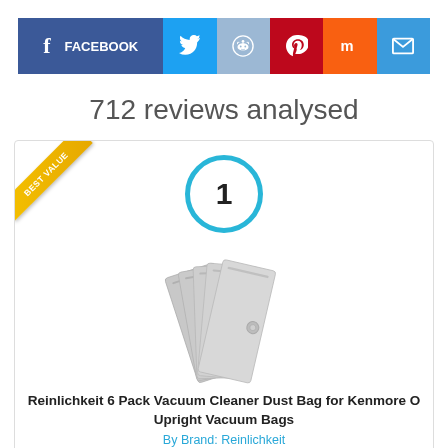[Figure (infographic): Social media sharing buttons: Facebook (dark blue with f icon and FACEBOOK text), Twitter (blue with bird icon), Reddit (light blue with alien icon), Pinterest (red with P icon), Mix (orange with m icon), Email (blue with envelope icon)]
712 reviews analysed
[Figure (infographic): Product card with a 'BEST VALUE' diagonal ribbon in gold in the top-left corner, a rank circle with number '1' in blue ring, and a product photo showing gray vacuum cleaner dust bags fanned out. Below is the product title and brand.]
Reinlichkeit 6 Pack Vacuum Cleaner Dust Bag for Kenmore O Upright Vacuum Bags
By Brand: Reinlichkeit